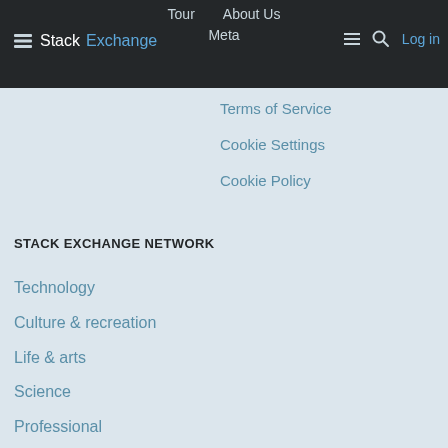Stack Exchange | Tour | About Us | Meta | Log in
Terms of Service
Cookie Settings
Cookie Policy
STACK EXCHANGE NETWORK
Technology
Culture & recreation
Life & arts
Science
Professional
Business
API
Data